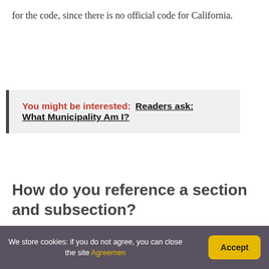for the code, since there is no official code for California.
You might be interested:  Readers ask: What Municipality Am I?
How do you reference a section and subsection?
Use the short form in any footnotes. If you are specifying a paragraph or subsection as part of a section, use just the abbreviation for the section. For example, paragraph (b) of subsection (1) of section
We store cookies: if you do not agree, you can close the site Agreemen